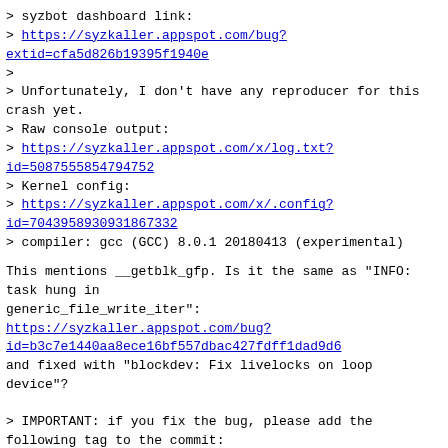> syzbot dashboard link:
> https://syzkaller.appspot.com/bug?extid=cfa5d826b19395f1940e
>
> Unfortunately, I don't have any reproducer for this crash yet.
> Raw console output:
> https://syzkaller.appspot.com/x/log.txt?id=5087555854794752
> Kernel config:
> https://syzkaller.appspot.com/x/.config?id=7043958930931867332
> compiler: gcc (GCC) 8.0.1 20180413 (experimental)
This mentions __getblk_gfp. Is it the same as "INFO: task hung in generic_file_write_iter":
https://syzkaller.appspot.com/bug?id=b3c7e1440aa8ece16bf557dbac427fdff1dad9d6
and fixed with "blockdev: Fix livelocks on loop device"?
> IMPORTANT: if you fix the bug, please add the following tag to the commit:
> Reported-by:
syzbot+cfa5d826b19395f1940e@syzkaller.appspotmail.com
> It will help syzbot understand when the bug is fixed. See footer for
> details.